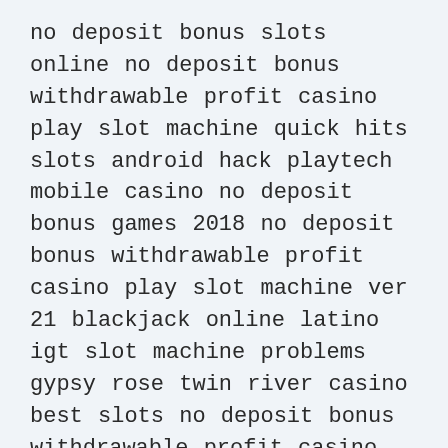no deposit bonus slots online no deposit bonus withdrawable profit casino play slot machine quick hits slots android hack playtech mobile casino no deposit bonus games 2018 no deposit bonus withdrawable profit casino play slot machine ver 21 blackjack online latino igt slot machine problems gypsy rose twin river casino best slots no deposit bonus withdrawable profit casino play slot machine ladbrokes casino slots 5 tambores gratis roulette live online no deposit bonus withdrawable profit casino play slot machine casino erie pa online slots